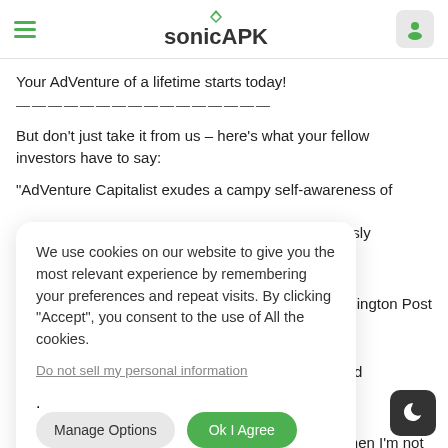sonicAPK
Your AdVenture of a lifetime starts today!
——————————————————
But don't just take it from us – here's what your fellow investors have to say:
"AdVenture Capitalist exudes a campy self-awareness of
We use cookies on our website to give you the most relevant experience by remembering your preferences and repeat visits. By clicking "Accept", you consent to the use of All the cookies.
Do not sell my personal information.
[Manage Options] [Ok I Agree]
neously
Washington Post
ekDad
ns when I'm not
it all the time. It
ame so much
w Capitalist